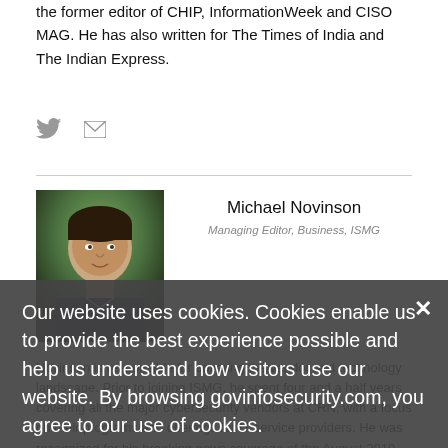the former editor of CHIP, InformationWeek and CISO MAG. He has also written for The Times of India and The Indian Express.
[Figure (other): Social media icons: Twitter bird and envelope/email icon]
[Figure (photo): Headshot photo of Michael Novinson, a man with dark hair against a natural background]
Michael Novinson
Managing Editor, Business, ISMG
Novinson is responsible for covering the vendor and technology landscape. Prior to joining ISMG, he spent four and a half years covering all the major cybersecurity vendors at CRN, with a focus on their programs and offerings for IT service providers. He was recognized for his breaking news coverage of the August 2019 coordinated ransomware attack against local governments in Texas as well as for his continued reporting
Our website uses cookies. Cookies enable us to provide the best experience possible and help us understand how visitors use our website. By browsing govinfosecurity.com, you agree to our use of cookies.